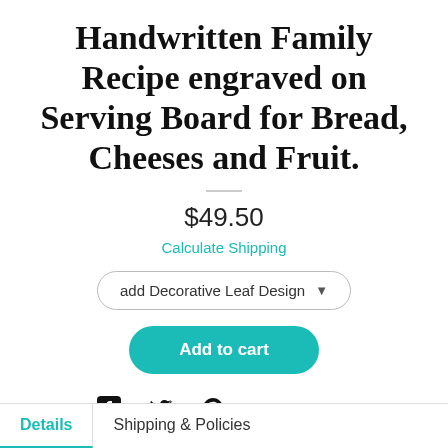Handwritten Family Recipe engraved on Serving Board for Bread, Cheeses and Fruit.
$49.50
Calculate Shipping
add Decorative Leaf Design
Add to cart
Ask a question
Details
Shipping & Policies